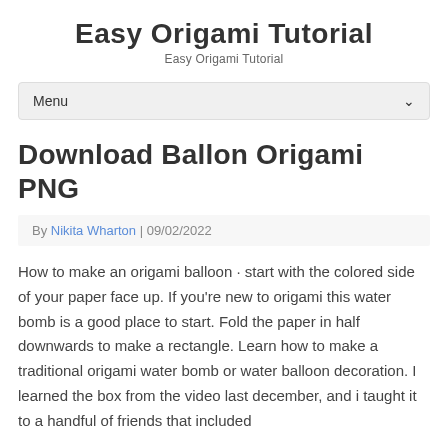Easy Origami Tutorial
Easy Origami Tutorial
Menu
Download Ballon Origami PNG
By Nikita Wharton | 09/02/2022
How to make an origami balloon · start with the colored side of your paper face up. If you're new to origami this water bomb is a good place to start. Fold the paper in half downwards to make a rectangle. Learn how to make a traditional origami water bomb or water balloon decoration. I learned the box from the video last december, and i taught it to a handful of friends that included